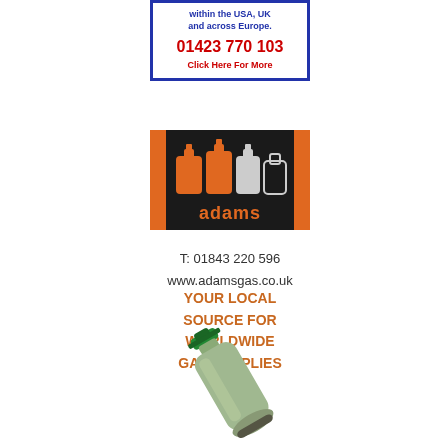[Figure (advertisement): Top advertisement box with blue border showing text 'within the USA, UK and across Europe.' phone number 01423 770 103 in red, and 'Click Here For More' link in red]
[Figure (logo): Adams Gas logo: black background with orange gas cylinders silhouettes and 'adams' text in orange, flanked by orange vertical bars]
T: 01843 220 596
www.adamsgas.co.uk
YOUR LOCAL SOURCE FOR WORLDWIDE GAS SUPPLIES
[Figure (photo): Photo of a green/grey gas cylinder (pressurised gas bottle) with green valve on top, tilted diagonally]